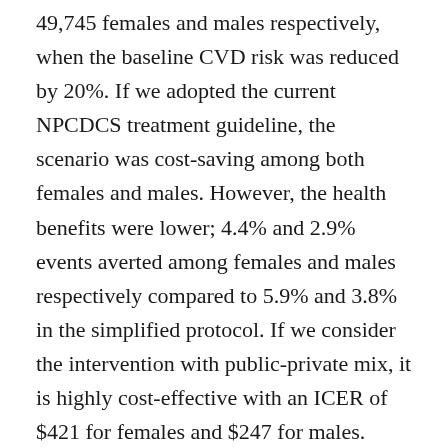49,745 females and males respectively, when the baseline CVD risk was reduced by 20%. If we adopted the current NPCDCS treatment guideline, the scenario was cost-saving among both females and males. However, the health benefits were lower; 4.4% and 2.9% events averted among females and males respectively compared to 5.9% and 3.8% in the simplified protocol. If we consider the intervention with public-private mix, it is highly cost-effective with an ICER of $421 for females and $247 for males. With a reduced time-horizon of 10 years, the scenario remained highly cost-effective with ICERs of $134 for the entire population ($142 for females and $125 for males). If the time horizon was increased to 40 years, the intervention remains cost-saving among both females and males. The inclusion of disutility for being